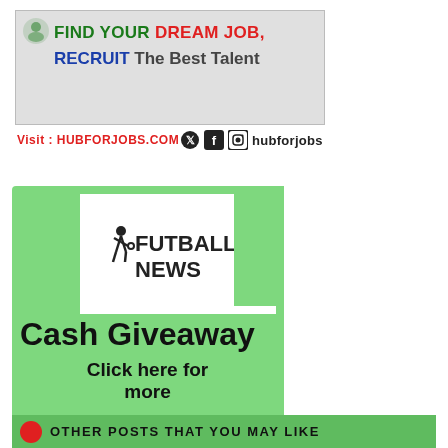[Figure (infographic): Job recruitment advertisement banner with text: FIND YOUR DREAM JOB, RECRUIT The Best Talent. Visit: HUBFORJOBS.COM with social media icons and hubforjobs handle.]
[Figure (infographic): Futball News Cash Giveaway advertisement on green background with white logo box showing a footballer silhouette, text: Cash Giveaway, Click here for more.]
[Figure (infographic): Green bar at bottom with red circle icon and text: OTHER POSTS THAT YOU MAY LIKE]